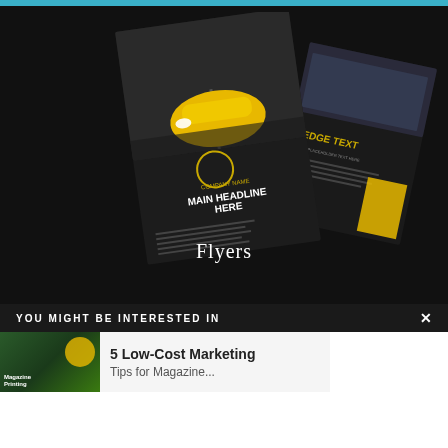[Figure (illustration): Two overlapping printed flyers shown at an angle on a dark background. The front flyer features a yellow sports car on a dark road with text 'COMPANY NAME' and 'MAIN HEADLINE HERE'. The back flyer shows a group of people and text 'EDGE TEXT' with placeholder body text.]
Flyers
YOU MIGHT BE INTERESTED IN
[Figure (illustration): Thumbnail image of a magazine printing advertisement with yellow car graphic and green overlay with text 'Magazine Printing']
5 Low-Cost Marketing Tips for Magazine...